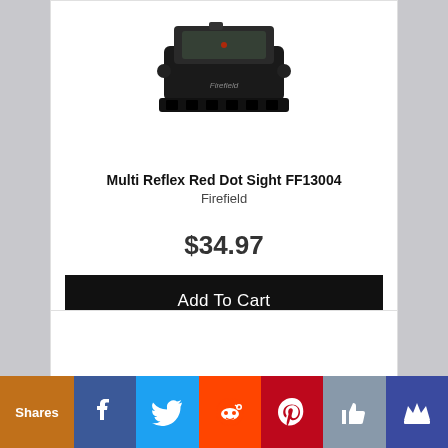[Figure (photo): Black Firefield Multi Reflex Red Dot Sight FF13004 product photo on white background]
Multi Reflex Red Dot Sight FF13004
Firefield
$34.97
Add To Cart
Financing Available